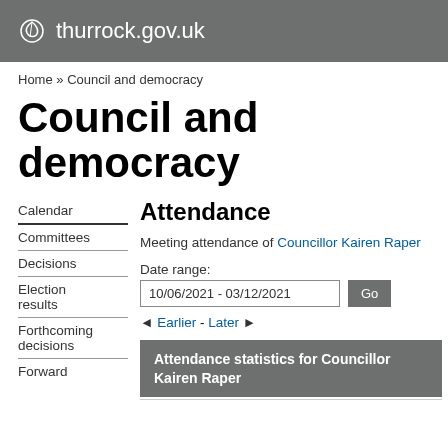thurrock.gov.uk
Home » Council and democracy
Council and democracy
Attendance
Calendar
Committees
Decisions
Election results
Forthcoming decisions
Forward
Meeting attendance of Councillor Kairen Raper
Date range:
10/06/2021 - 03/12/2021
◄ Earlier - Later ►
Attendance statistics for Councillor Kairen Raper